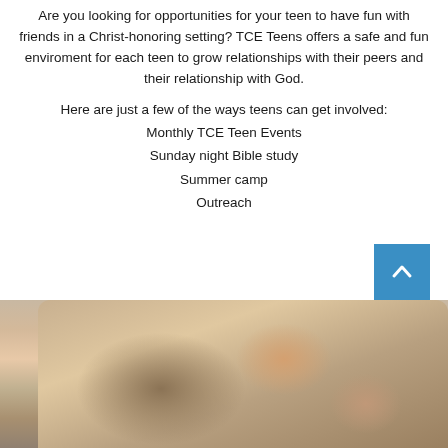Are you looking for opportunities for your teen to have fun with friends in a Christ-honoring setting? TCE Teens offers a safe and fun enviroment for each teen to grow relationships with their peers and their relationship with God.
Here are just a few of the ways teens can get involved:
Monthly TCE Teen Events
Sunday night Bible study
Summer camp
Outreach
[Figure (photo): Photo of teenagers sitting together, blurred/bokeh style, warm tones]